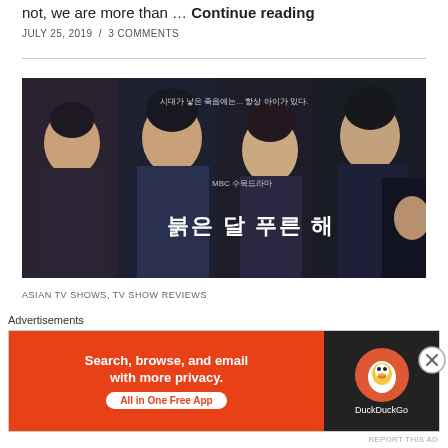not, we are more than … Continue reading
JULY 25, 2019 / 3 COMMENTS
[Figure (photo): Promotional poster for Korean TV drama '붉은 달 푸른 해' (MBC) showing four cast members against a dark background with Korean text overlay]
ASIAN TV SHOWS, TV SHOW REVIEWS
TV Review: Children of Nobody (continue...)
Advertisements
[Figure (other): DuckDuckGo advertisement banner: 'Search, browse, and email with more privacy. All in One Free App' with DuckDuckGo logo on dark background]